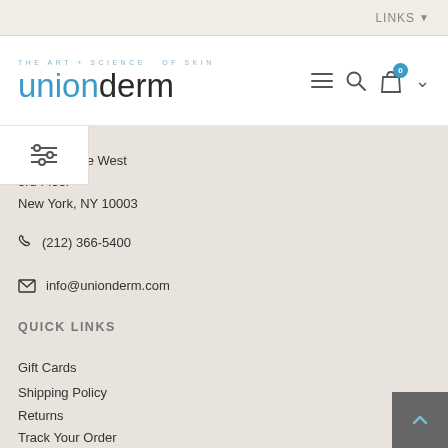LINKS ▾
[Figure (logo): Unionderm logo with tagline 'THE ART + SCIENCE OF SKIN' above stylized text 'unionderm' in blue/dark tones]
…ion Square West
3rd Floor
New York, NY 10003
☎ (212) 366-5400
✉ info@unionderm.com
QUICK LINKS
Gift Cards
Shipping Policy
Returns
Track Your Order
GET THE SCOOP